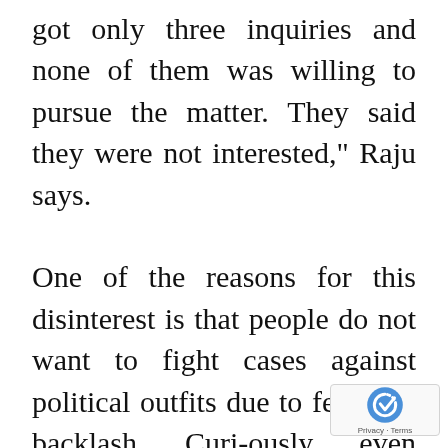got only three inquiries and none of them was willing to pursue the matter. They said they were not interested," Raju says.

One of the reasons for this disinterest is that people do not want to fight cases against political outfits due to fear of a backlash. Curi-ously, even government bodies are reluctant to move agai… political parties. The Kerala Me…